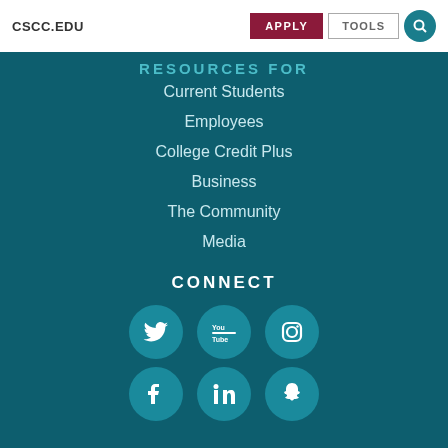CSCC.EDU
RESOURCES FOR
Current Students
Employees
College Credit Plus
Business
The Community
Media
CONNECT
[Figure (infographic): Social media icons row 1: Twitter, YouTube, Instagram]
[Figure (infographic): Social media icons row 2: Facebook, LinkedIn, Snapchat]